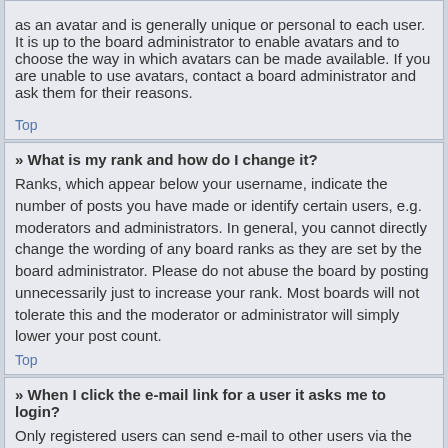as an avatar and is generally unique or personal to each user. It is up to the board administrator to enable avatars and to choose the way in which avatars can be made available. If you are unable to use avatars, contact a board administrator and ask them for their reasons.
Top
» What is my rank and how do I change it?
Ranks, which appear below your username, indicate the number of posts you have made or identify certain users, e.g. moderators and administrators. In general, you cannot directly change the wording of any board ranks as they are set by the board administrator. Please do not abuse the board by posting unnecessarily just to increase your rank. Most boards will not tolerate this and the moderator or administrator will simply lower your post count.
Top
» When I click the e-mail link for a user it asks me to login?
Only registered users can send e-mail to other users via the built-in e-mail form, and only if the administrator has enabled this feature. This is to prevent malicious use of the e-mail system by anonymous users.
Top
Posting Issues